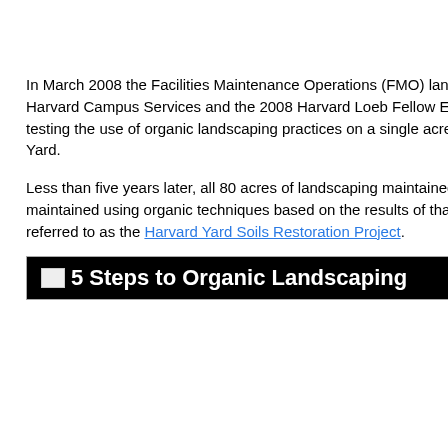year, in pa of deeper less freque
[Figure (other): Small image placeholder top right]
Harva Services
[Figure (other): Small image placeholder right column]
For Mo
In March 2008 the Facilities Maintenance Operations (FMO) landscaping group within Harvard Campus Services and the 2008 Harvard Loeb Fellow Eric T. Fleisher began testing the use of organic landscaping practices on a single acre of historic Harvard Yard.
Less than five years later, all 80 acres of landscaping maintained by FMO are maintained using organic techniques based on the results of that early research referred to as the Harvard Yard Soils Restoration Project.
[Figure (other): Small image icon in banner area]
5 Steps to Organic Landscaping
Organ Starte processes biology landsco
Harva (cover and W
Wayne Servic Busine wayne
Andrea Servic Servic andrea
[Figure (other): Small image placeholder bottom right]
Forwa